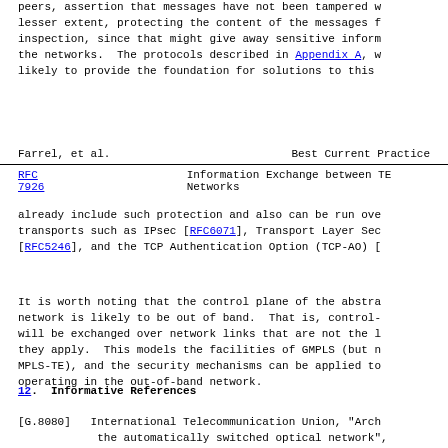peers, assertion that messages have not been tampered w... lesser extent, protecting the content of the messages f... inspection, since that might give away sensitive inform... the networks.  The protocols described in Appendix A, w... likely to provide the foundation for solutions to this
Farrel, et al.          Best Current Practice
RFC 7926        Information Exchange between TE Networks
already include such protection and also can be run ove... transports such as IPsec [RFC6071], Transport Layer Sec... [RFC5246], and the TCP Authentication Option (TCP-AO) [
It is worth noting that the control plane of the abstra... network is likely to be out of band.  That is, control-... will be exchanged over network links that are not the l... they apply.  This models the facilities of GMPLS (but n... MPLS-TE), and the security mechanisms can be applied to... operating in the out-of-band network.
12.  Informative References
[G.8080]   International Telecommunication Union, "Arch... the automatically switched optical network",... Recommendation G.8080/Y.1304, February 2012